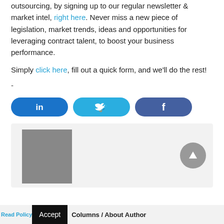outsourcing, by signing up to our regular newsletter & market intel, right here. Never miss a new piece of legislation, market trends, ideas and opportunities for leveraging contract talent, to boost your business performance.
Simply click here, fill out a quick form, and we'll do the rest!
-
[Figure (infographic): Three social sharing buttons: LinkedIn (blue), Twitter (light blue), Facebook (dark blue), each pill-shaped with icon]
[Figure (photo): Author card with grey placeholder photo on left, grey circle arrow button on right, on light grey background]
Read Policy / About Author Columns / About Author